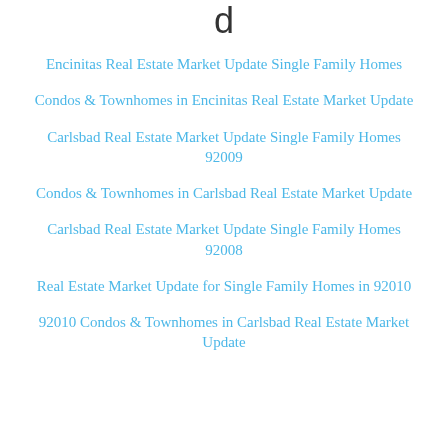d
Encinitas Real Estate Market Update Single Family Homes
Condos & Townhomes in Encinitas Real Estate Market Update
Carlsbad Real Estate Market Update Single Family Homes 92009
Condos & Townhomes in Carlsbad Real Estate Market Update
Carlsbad Real Estate Market Update Single Family Homes 92008
Real Estate Market Update for Single Family Homes in 92010
92010 Condos & Townhomes in Carlsbad Real Estate Market Update